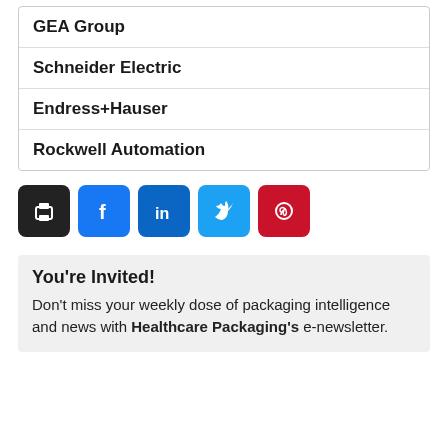GEA Group
Schneider Electric
Endress+Hauser
Rockwell Automation
[Figure (infographic): Social sharing buttons: print, Facebook, LinkedIn, Twitter, Pinterest]
You're Invited!
Don't miss your weekly dose of packaging intelligence and news with Healthcare Packaging's e-newsletter.